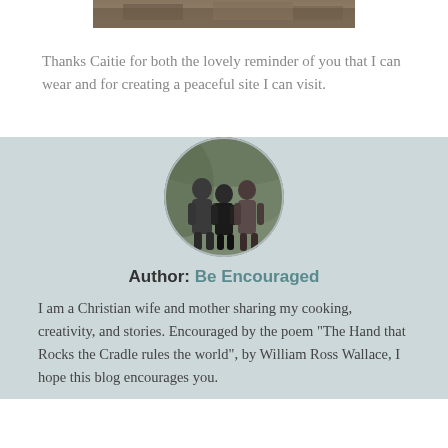[Figure (photo): Partial view of a photograph at the top of the page, showing a nature/outdoor scene]
Thanks Caitie for both the lovely reminder of you that I can wear and for creating a peaceful site I can visit.
[Figure (photo): Circular portrait photo of three people (a man, child, and woman) in a wooded outdoor setting, in black and white]
Author: Be Encouraged
I am a Christian wife and mother sharing my cooking, creativity, and stories. Encouraged by the poem "The Hand that Rocks the Cradle rules the world", by William Ross Wallace, I hope this blog encourages you.